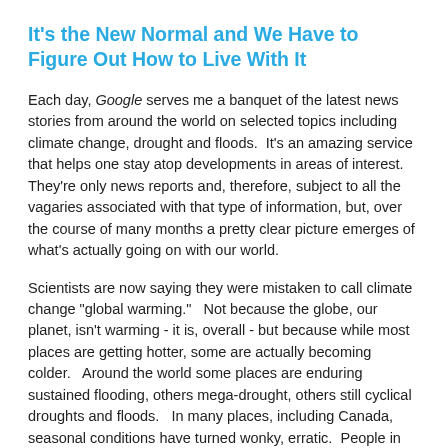It's the New Normal and We Have to Figure Out How to Live With It
Each day, Google serves me a banquet of the latest news stories from around the world on selected topics including climate change, drought and floods.  It's an amazing service that helps one stay atop developments in areas of interest.  They're only news reports and, therefore, subject to all the vagaries associated with that type of information, but, over the course of many months a pretty clear picture emerges of what's actually going on with our world.
Scientists are now saying they were mistaken to call climate change "global warming."   Not because the globe, our planet, isn't warming - it is, overall - but because while most places are getting hotter, some are actually becoming colder.   Around the world some places are enduring sustained flooding, others mega-drought, others still cyclical droughts and floods.   In many places, including Canada, seasonal conditions have turned wonky, erratic.  People in Ontario know what that's all about.   So do most Americans